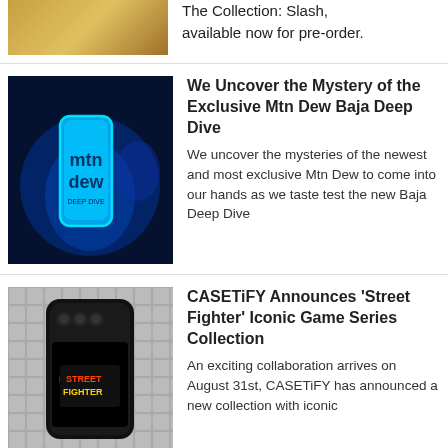The Collection: Slash, available now for pre-order.
[Figure (photo): Partial view of a product photo at the top of the page]
[Figure (photo): Mountain Dew Baja Deep Dive can with blue glowing neon lighting]
We Uncover the Mystery of the Exclusive Mtn Dew Baja Deep Dive
We uncover the mysteries of the newest and most exclusive Mtn Dew to come into our hands as we taste test the new Baja Deep Dive
[Figure (photo): CASETiFY Street Fighter phone case on a tiled background]
CASETiFY Announces 'Street Fighter' Iconic Game Series Collection
An exciting collaboration arrives on August 31st, CASETiFY has announced a new collection with iconic